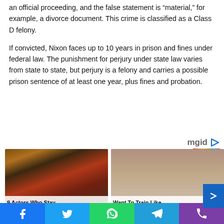an official proceeding, and the false statement is “material,” for example, a divorce document. This crime is classified as a Class D felony.
If convicted, Nixon faces up to 10 years in prison and fines under federal law. The punishment for perjury under state law varies from state to state, but perjury is a felony and carries a possible prison sentence of at least one year, plus fines and probation.
[Figure (logo): mgid logo with colorful underline and play button arrow]
[Figure (photo): Left photo: actor in elaborate costume at event. Caption: 9 Actors Who Stay]
[Figure (photo): Right photo: woman taking selfie in gym. Caption: Want To Train Like]
Facebook | Twitter | WhatsApp | Telegram | Phone share buttons